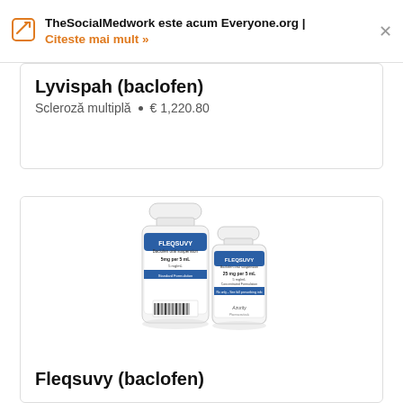TheSocialMedwork este acum Everyone.org | Citeste mai mult »
Lyvispah (baclofen)
Scleroză multiplă  •  € 1,220.80
[Figure (photo): Two white bottles of Fleqsuvy (baclofen) oral suspension medication]
Fleqsuvy (baclofen)